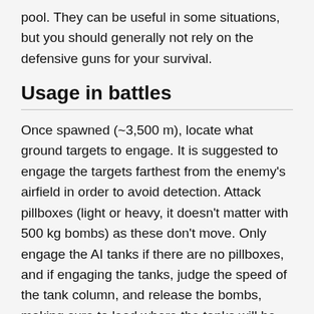pool. They can be useful in some situations, but you should generally not rely on the defensive guns for your survival.
Usage in battles
Once spawned (~3,500 m), locate what ground targets to engage. It is suggested to engage the targets farthest from the enemy's airfield in order to avoid detection. Attack pillboxes (light or heavy, it doesn't matter with 500 kg bombs) as these don't move. Only engage the AI tanks if there are no pillboxes, and if engaging the tanks, judge the speed of the tank column, and release the bombs, making sure to lead where the tanks will be as the bombs fall, not where they are in that moment.